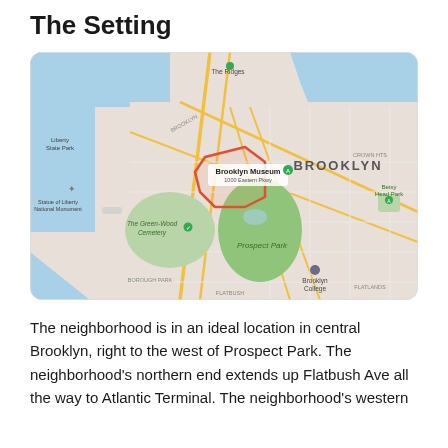The Setting
[Figure (map): Google Maps view of central Brooklyn, New York, showing Prospect Park, The Green-Wood Cemetery, Brooklyn Museum, Liberty State Park, Statue of Liberty National Monument, Brooklyn College, Betsy Head Park, and surrounding neighborhoods including BROOKLYN label. A red outlined polygon marks the subject neighborhood to the west of Prospect Park.]
The neighborhood is in an ideal location in central Brooklyn, right to the west of Prospect Park. The neighborhood's northern end extends up Flatbush Ave all the way to Atlantic Terminal. The neighborhood's western